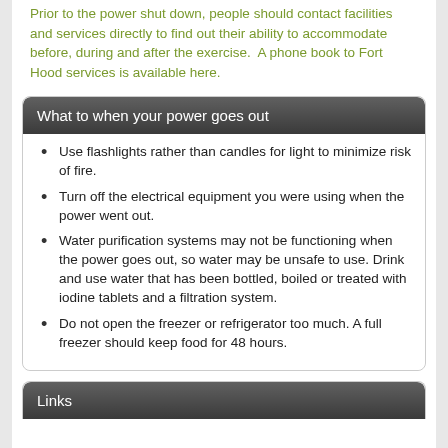Prior to the power shut down, people should contact facilities and services directly to find out their ability to accommodate before, during and after the exercise.  A phone book to Fort Hood services is available here.
What to when your power goes out
Use flashlights rather than candles for light to minimize risk of fire.
Turn off the electrical equipment you were using when the power went out.
Water purification systems may not be functioning when the power goes out, so water may be unsafe to use. Drink and use water that has been bottled, boiled or treated with iodine tablets and a filtration system.
Do not open the freezer or refrigerator too much. A full freezer should keep food for 48 hours.
Links